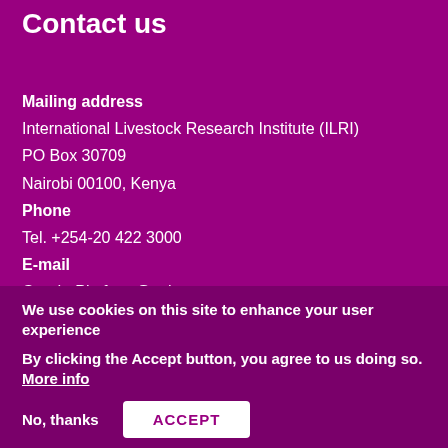Contact us
Mailing address
International Livestock Research Institute (ILRI)
PO Box 30709
Nairobi 00100, Kenya
Phone
Tel. +254-20 422 3000
E-mail
GenderPlatform@cgiar.org
Subscribe to our newsletter
Follow us on Twitter
Join our virtual discussion group
We use cookies on this site to enhance your user experience
By clicking the Accept button, you agree to us doing so. More info
No, thanks
ACCEPT